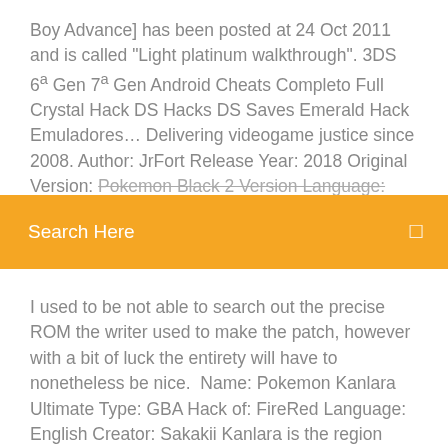Boy Advance] has been posted at 24 Oct 2011 and is called "Light platinum walkthrough". 3DS 6ª Gen 7ª Gen Android Cheats Completo Full Crystal Hack DS Hacks DS Saves Emerald Hack Emuladores… Delivering videogame justice since 2008. Author: JrFort Release Year: 2018 Original Version: Pokemon Black 2 Version Language: English Version: Beta 1.2a
Search Here
I used to be not able to search out the precise ROM the writer used to make the patch, however with a bit of luck the entirety will have to nonetheless be nice. Name: Pokemon Kanlara Ultimate Type: GBA Hack of: FireRed Language: English Creator: Sakakii Kanlara is the region where you were born. You spawn here… App download, free apk, android root,iphone jailbreak,technology news,mod update,samsung unlock,flash tool,ios root,tablet trick,icloud unlock,apple jailbreak All of us are